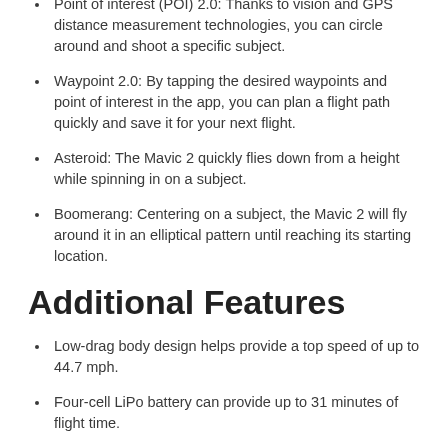Point of interest (POI) 2.0: Thanks to vision and GPS distance measurement technologies, you can circle around and shoot a specific subject.
Waypoint 2.0: By tapping the desired waypoints and point of interest in the app, you can plan a flight path quickly and save it for your next flight.
Asteroid: The Mavic 2 quickly flies down from a height while spinning in on a subject.
Boomerang: Centering on a subject, the Mavic 2 will fly around it in an elliptical pattern until reaching its starting location.
Additional Features
Low-drag body design helps provide a top speed of up to 44.7 mph.
Four-cell LiPo battery can provide up to 31 minutes of flight time.
A combination of an FOC sinusoidal drive ESCs and low-noise propellers keeps flights quiet.
Panorama image mode with support for Sphere, 180°, Horizontal, and Vertical modes.